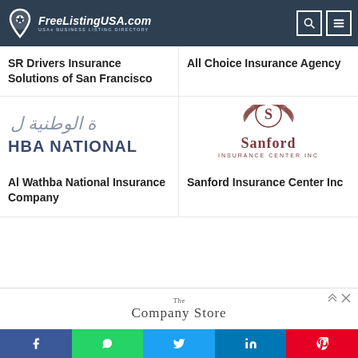FreeListingUSA.com — USAs BUSINESS LISTING DIRECTORY
SR Drivers Insurance Solutions of San Francisco
All Choice Insurance Agency
[Figure (logo): Al Wathba National Insurance Company logo with Arabic script and HBA NATIONAL text]
Al Wathba National Insurance Company
[Figure (logo): Sanford Insurance Center Inc logo with an S emblem and laurel wreath]
Sanford Insurance Center Inc
[Figure (other): The Company Store advertisement banner]
Social sharing bar: Facebook, WhatsApp, Twitter, LinkedIn, Pinterest